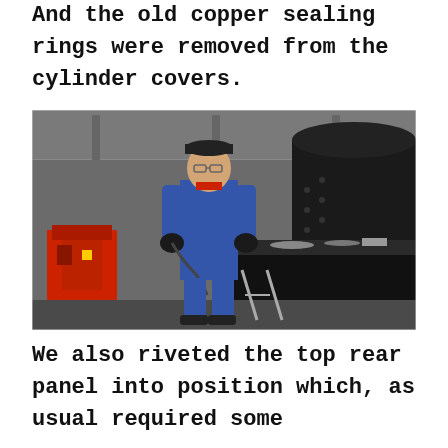And the old copper sealing rings were removed from the cylinder covers.
[Figure (photo): A man in blue overalls and a dark cap stands in a workshop holding a cable tool, next to a large black steam locomotive boiler or cylinder. Red machinery and workshop equipment visible in background.]
We also riveted the top rear panel into position which, as usual required some improvisation and dobbling of sorts